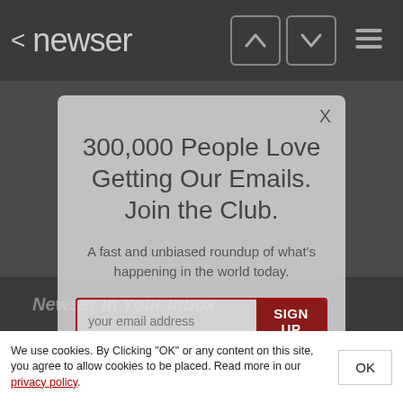< newser
300,000 People Love Getting Our Emails. Join the Club.
A fast and unbiased roundup of what's happening in the world today.
your email address  SIGN UP
Newser in Your Inbox
We use cookies. By Clicking "OK" or any content on this site, you agree to allow cookies to be placed. Read more in our privacy policy.